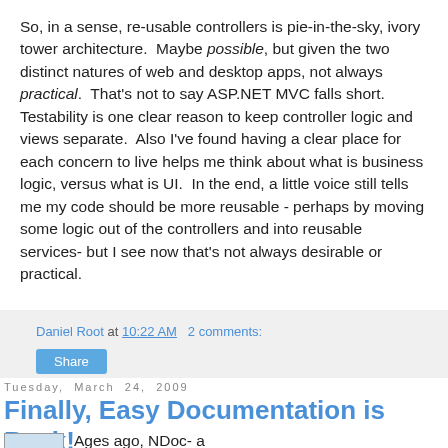So, in a sense, re-usable controllers is pie-in-the-sky, ivory tower architecture.  Maybe possible, but given the two distinct natures of web and desktop apps, not always practical.  That's not to say ASP.NET MVC falls short. Testability is one clear reason to keep controller logic and views separate.  Also I've found having a clear place for each concern to live helps me think about what is business logic, versus what is UI.  In the end, a little voice still tells me my code should be more reusable - perhaps by moving some logic out of the controllers and into reusable services- but I see now that's not always desirable or practical.
Daniel Root at 10:22 AM   2 comments:
Share
Tuesday, March 24, 2009
Finally, Easy Documentation is Back!
Ages ago, NDoc- a